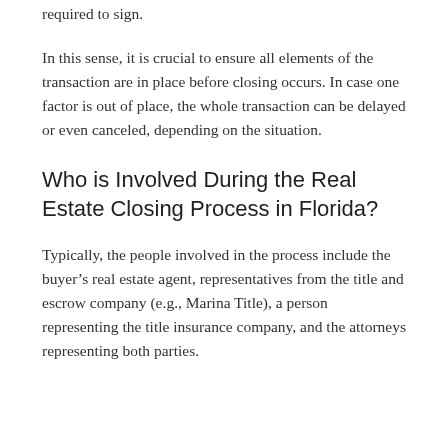required to sign.
In this sense, it is crucial to ensure all elements of the transaction are in place before closing occurs. In case one factor is out of place, the whole transaction can be delayed or even canceled, depending on the situation.
Who is Involved During the Real Estate Closing Process in Florida?
Typically, the people involved in the process include the buyer’s real estate agent, representatives from the title and escrow company (e.g., Marina Title), a person representing the title insurance company, and the attorneys representing both parties.